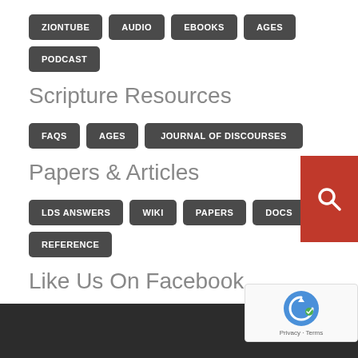ZIONTUBE AUDIO EBOOKS AGES PODCAST
Scripture Resources
FAQS AGES JOURNAL OF DISCOURSES
Papers & Articles
LDS ANSWERS WIKI PAPERS DOCS REFERENCE
Like Us On Facebook
[Figure (other): Red search button with magnifying glass icon in top right corner]
[Figure (other): reCAPTCHA badge with Privacy and Terms links]